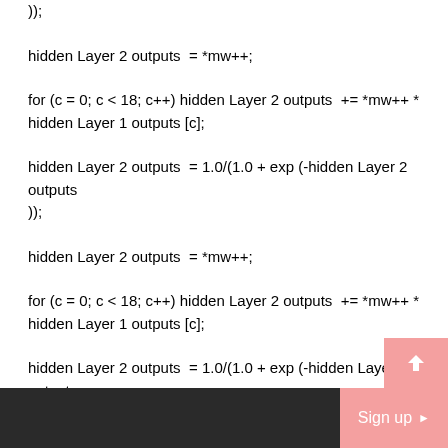));
hidden Layer 2 outputs  = *mw++;
for (c = 0; c < 18; c++) hidden Layer 2 outputs  += *mw++ * hidden Layer 1 outputs [c];
hidden Layer 2 outputs  = 1.0/(1.0 + exp (-hidden Layer 2 outputs ));
hidden Layer 2 outputs  = *mw++;
for (c = 0; c < 18; c++) hidden Layer 2 outputs  += *mw++ * hidden Layer 1 outputs [c];
hidden Layer 2 outputs  = 1.0/(1.0 + exp (-hidden Layer 2 outputs
Sign up